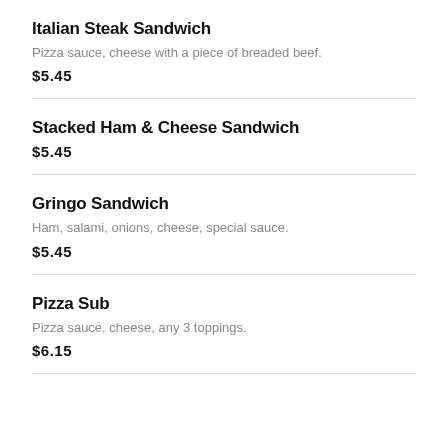Italian Steak Sandwich
Pizza sauce, cheese with a piece of breaded beef.
$5.45
Stacked Ham & Cheese Sandwich
$5.45
Gringo Sandwich
Ham, salami, onions, cheese, special sauce.
$5.45
Pizza Sub
Pizza sauce, cheese, any 3 toppings.
$6.15